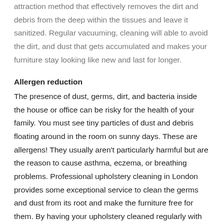attraction method that effectively removes the dirt and debris from the deep within the tissues and leave it sanitized. Regular vacuuming, cleaning will able to avoid the dirt, and dust that gets accumulated and makes your furniture stay looking like new and last for longer.
Allergen reduction
The presence of dust, germs, dirt, and bacteria inside the house or office can be risky for the health of your family. You must see tiny particles of dust and debris floating around in the room on sunny days. These are allergens! They usually aren't particularly harmful but are the reason to cause asthma, eczema, or breathing problems. Professional upholstery cleaning in London provides some exceptional service to clean the germs and dust from its root and make the furniture free for them. By having your upholstery cleaned regularly with